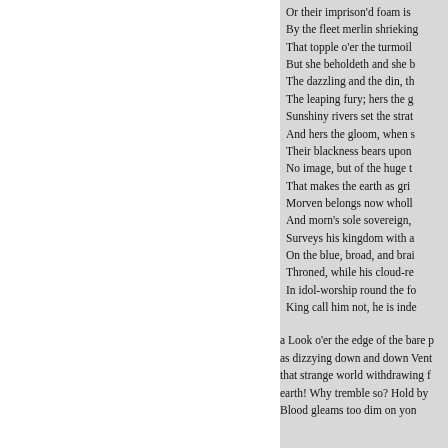Or their imprison'd foam is
By the fleet merlin shrieking
That topple o'er the turmoil
But she beholdeth and she b
The dazzling and the din, th
The leaping fury; hers the g
Sunshiny rivers set the strat
And hers the gloom, when s
Their blackness bears upon
No image, but of the huge t
That makes the earth as gri
Morven belongs now wholl
And morn's sole sovereign,
Surveys his kingdom with a
On the blue, broad, and brai
Throned, while his cloud-re
In idol-worship round the fo
King call him not, he is inde
a Look o'er the edge of the bare p
as dizzying down and down Vent
that strange world withdrawing f
earth! Why tremble so? Hold by
Blood gleams too dim on yon